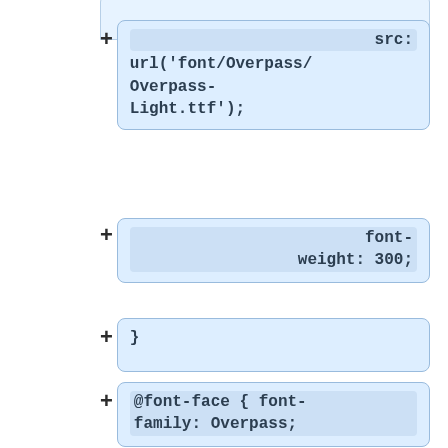[Figure (screenshot): Diff/code viewer showing CSS @font-face code blocks with + indicators. Blocks show: src: url('font/Overpass/Overpass-Light.ttf');, font-weight: 300;, }, @font-face { font-family: Overpass;, src: url('font/Overpass/Overpass-Thin.ttf');, font- (cut off at bottom)]